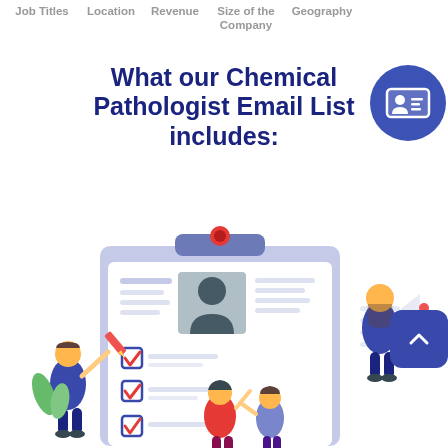Job Titles   Location   Revenue   Size of the Company   Geography
What our Chemical Pathologist Email List includes:
[Figure (illustration): Illustration of people around a large clipboard/checklist with checkboxes, a profile photo placeholder, and text fields. A person with a megaphone stands to the right, and a person holds a pencil on the left. A woman and another person stand at the bottom center.]